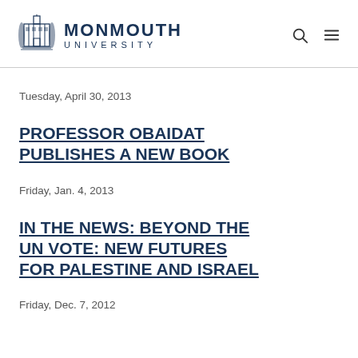MONMOUTH UNIVERSITY
Tuesday, April 30, 2013
PROFESSOR OBAIDAT PUBLISHES A NEW BOOK
Friday, Jan. 4, 2013
IN THE NEWS: BEYOND THE UN VOTE: NEW FUTURES FOR PALESTINE AND ISRAEL
Friday, Dec. 7, 2012